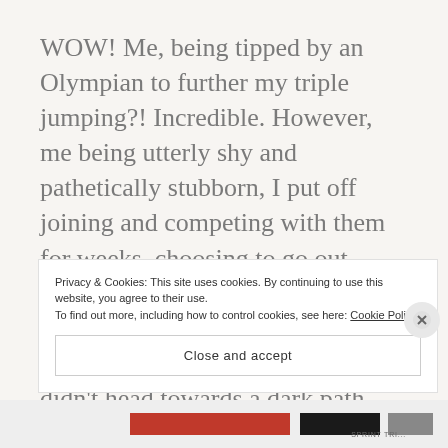WOW! Me, being tipped by an Olympian to further my triple jumping?! Incredible. However, me being utterly shy and pathetically stubborn, I put off joining and competing with them for weeks, choosing to go out again a poor life choice but fate would have it, would deal a blow to the arm (literally) to make sure I didn't head towards a dark path.
Privacy & Cookies: This site uses cookies. By continuing to use this website, you agree to their use.
To find out more, including how to control cookies, see here: Cookie Policy
Close and accept